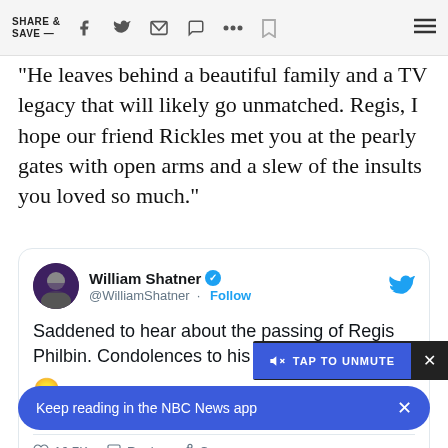SHARE & SAVE —
“He leaves behind a beautiful family and a TV legacy that will likely go unmatched. Regis, I hope our friend Rickles met you at the pearly gates with open arms and a slew of the insults you loved so much.”
[Figure (screenshot): Embedded tweet from @WilliamShatner reading: Saddened to hear about the passing of Regis Philbin. Condolences to his wife Joy. 😞 7:19 PM · Jul 25, 2020 · 16.7K likes]
[Figure (screenshot): Tap to unmute video overlay button with close X]
Keep reading in the NBC News app